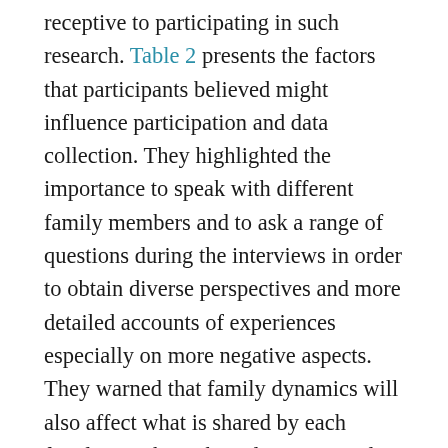receptive to participating in such research. Table 2 presents the factors that participants believed might influence participation and data collection. They highlighted the importance to speak with different family members and to ask a range of questions during the interviews in order to obtain diverse perspectives and more detailed accounts of experiences especially on more negative aspects. They warned that family dynamics will also affect what is shared by each family member. They also expressed that privacy concerns and emotions could affect one's willingness to participate and/or what information a participant would feel comfortable disclosing.